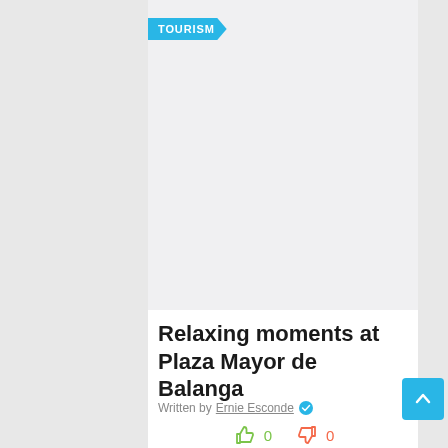TOURISM
[Figure (photo): Placeholder image area for article photo]
Relaxing moments at Plaza Mayor de Balanga
Written by Ernie Esconde
0  0